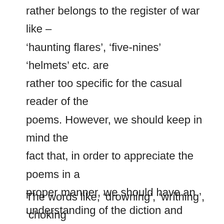rather belongs to the register of war like – 'haunting flares', 'five-nines' 'helmets' etc. are rather too specific for the casual reader of the poems. However, we should keep in mind the fact that, in order to appreciate the poems in a proper manner, we should have an understanding of the diction and register of warfare. However, as already mentioned, most of the words, specially, which comes towards the end of the poem are specific to disease and death and that too stripped of all glories.
The words like, ‘drowning’, ‘writhing’, ‘choking’ etc. are symptoms of the symptoms of death